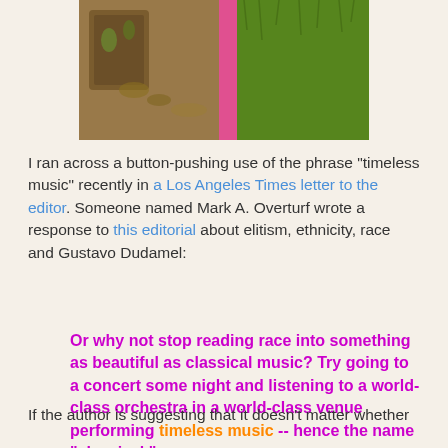[Figure (photo): A photograph showing what appears to be a bag/purse on the left side and green grass on the right side, with a pink divider in the middle.]
I ran across a button-pushing use of the phrase "timeless music" recently in a Los Angeles Times letter to the editor. Someone named Mark A. Overturf wrote a response to this editorial about elitism, ethnicity, race and Gustavo Dudamel:
Or why not stop reading race into something as beautiful as classical music? Try going to a concert some night and listening to a world-class orchestra in a world-class venue performing timeless music -- hence the name "classical."
If the author is suggesting that it doesn't matter whether